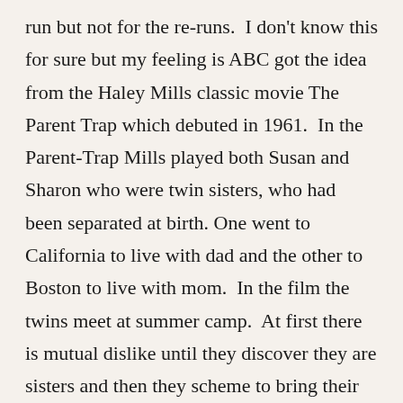run but not for the re-runs.  I don't know this for sure but my feeling is ABC got the idea from the Haley Mills classic movie The Parent Trap which debuted in 1961.  In the Parent-Trap Mills played both Susan and Sharon who were twin sisters, who had been separated at birth. One went to California to live with dad and the other to Boston to live with mom.  In the film the twins meet at summer camp.  At first there is mutual dislike until they discover they are sisters and then they scheme to bring their parents back together and of course, all ends happily.  The Patty Duke Show was a bit different.  Patty Duke played both Patty and Cathy Lane.  Not sisters but identical cousins.  Cathy's father is either